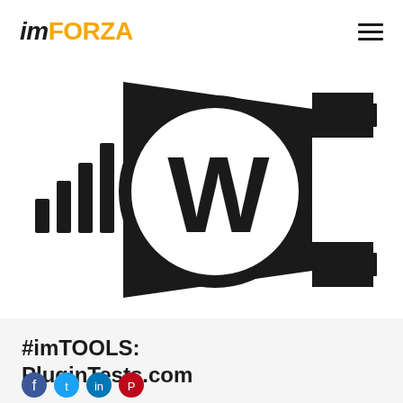imFORZA
[Figure (illustration): WordPress plugin icon: a black plug/connector shape with the WordPress 'W' logo circle in white, with signal/wifi bars on the left side, on a white background]
#imTOOLS: PluginTests.com